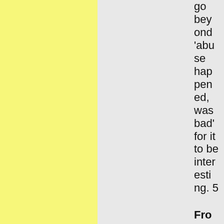go beyond 'abuse happened, was bad' for it to be interesting. 5
From a Clear Blue